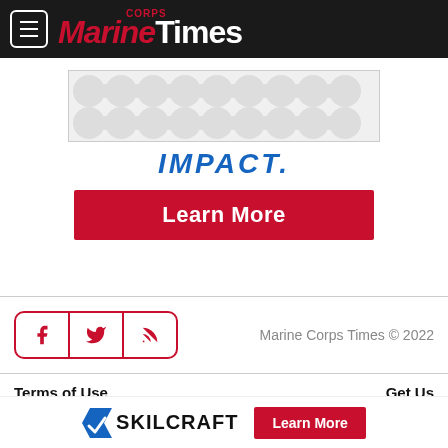Marine Corps Times
[Figure (other): Advertisement banner with dot/bubble pattern background]
IMPACT.
Learn More
Marine Corps Times © 2022
Terms of Use
Get Us
[Figure (logo): SKILCRAFT logo with checkmark and Learn More button]